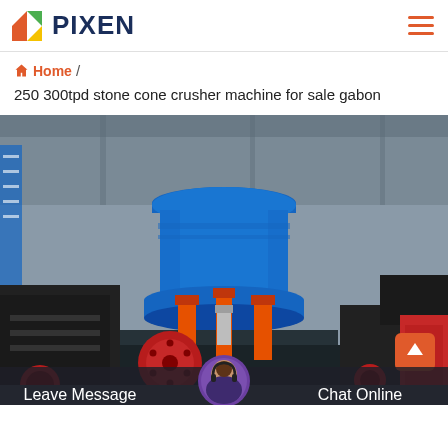PIXEN
Home /
250 300tpd stone cone crusher machine for sale gabon
[Figure (photo): Large blue cone crusher machine with orange hydraulic cylinders in an industrial factory setting, with additional black crushing equipment visible in the background.]
Leave Message | Chat Online